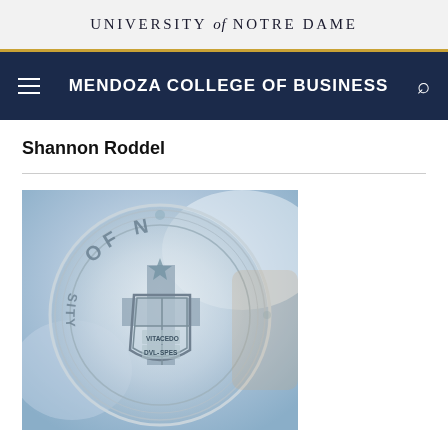UNIVERSITY of NOTRE DAME
MENDOZA COLLEGE OF BUSINESS
Shannon Roddel
[Figure (photo): University of Notre Dame glass seal/award showing the university crest with cross, star, shield, and motto VITA DULCIS SPES, photographed in a bright interior setting]